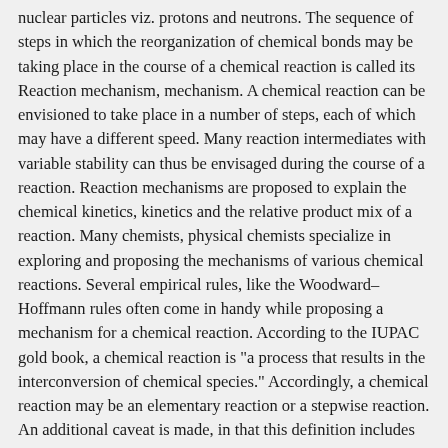nuclear particles viz. protons and neutrons. The sequence of steps in which the reorganization of chemical bonds may be taking place in the course of a chemical reaction is called its Reaction mechanism, mechanism. A chemical reaction can be envisioned to take place in a number of steps, each of which may have a different speed. Many reaction intermediates with variable stability can thus be envisaged during the course of a reaction. Reaction mechanisms are proposed to explain the chemical kinetics, kinetics and the relative product mix of a reaction. Many chemists, physical chemists specialize in exploring and proposing the mechanisms of various chemical reactions. Several empirical rules, like the Woodward–Hoffmann rules often come in handy while proposing a mechanism for a chemical reaction. According to the IUPAC gold book, a chemical reaction is "a process that results in the interconversion of chemical species." Accordingly, a chemical reaction may be an elementary reaction or a stepwise reaction. An additional caveat is made, in that this definition includes cases where the conformer, interconversion of conformers is experimentally observable. Such detectable chemical reactions normally involve sets of molecular entities as indicated by this definition, but it is often conceptually convenient